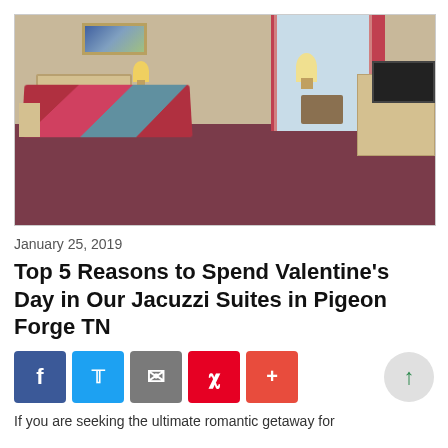[Figure (photo): Hotel room with a large bed covered in a floral quilted bedspread, mauve/burgundy carpet, dresser on the right, window with pink curtains in the background, and two upholstered chairs near the window.]
January 25, 2019
Top 5 Reasons to Spend Valentine's Day in Our Jacuzzi Suites in Pigeon Forge TN
[Figure (infographic): Social sharing buttons row: Facebook (blue), Twitter (light blue), Email (gray), Pinterest (red), Plus/More (red-orange). On the right: a circular gray up-arrow button in green.]
If you are seeking the ultimate romantic getaway for